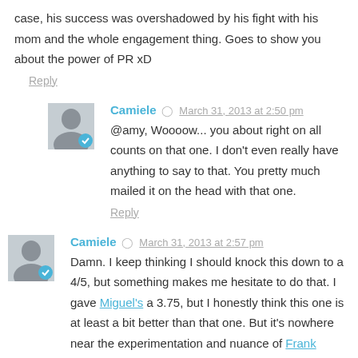case, his success was overshadowed by his fight with his mom and the whole engagement thing. Goes to show you about the power of PR xD
Reply
Camiele  March 31, 2013 at 2:50 pm
@amy, Woooow... you about right on all counts on that one. I don't even really have anything to say to that. You pretty much mailed it on the head with that one.
Reply
Camiele  March 31, 2013 at 2:57 pm
Damn. I keep thinking I should knock this down to a 4/5, but something makes me hesitate to do that. I gave Miguel's a 3.75, but I honestly think this one is at least a bit better than that one. But it's nowhere near the experimentation and nuance of Frank Ocean's (which I gave a 4.5). So... I don't know... I'm stuck... HaHa. I'll be oscillating between 4 and 4.25 for a while before I finally settle...